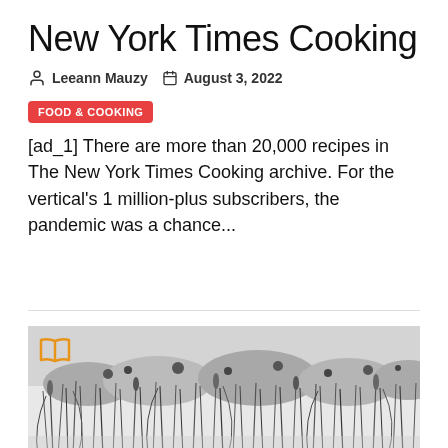New York Times Cooking
Leeann Mauzy   August 3, 2022
FOOD & COOKING
[ad_1] There are more than 20,000 recipes in The New York Times Cooking archive. For the vertical's 1 million-plus subscribers, the pandemic was a chance...
[Figure (photo): Black and white illustration or photograph of wild grasses and plants in a field, with an orange open-book icon overlay in the top-left corner]